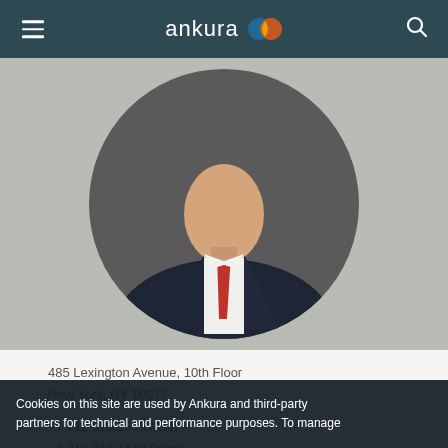ankura
[Figure (photo): Profile photo of a person in a dark suit and red tie, shown in a circular crop, against a grey background.]
485 Lexington Avenue, 10th Floor
New York, NY 10017

+1.212.818.1555 Main
+1.212.818.1118 Direct
+1.973.714.9800 Mobile
Cookies on this site are used by Ankura and third-party partners for technical and performance purposes. To manage